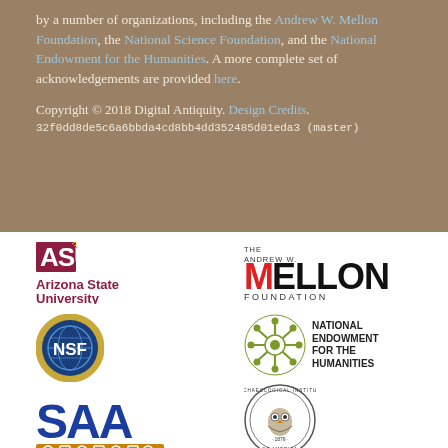by a number of organizations, including the Andrew W. Mellon Foundation, the National Science Foundation, and the National Endowment for the Humanities. A more complete set of acknowledgements are provided here.
Copyright © 2018 Digital Antiquity. Design Credits.
32f0dd8de5c6a6bbda4cd8bb4dd352485d01eda3 (master)
[Figure (logo): ASU Arizona State University logo in maroon and gold]
[Figure (logo): NSF National Science Foundation circular blue badge with gold border]
[Figure (logo): SAA logo in blue with orange/gold decorative border elements]
[Figure (logo): The Andrew W. Mellon Foundation logo]
[Figure (logo): National Endowment for the Humanities logo - olive green circular design with text]
[Figure (logo): Archaeological Institute of America circular seal with owl]